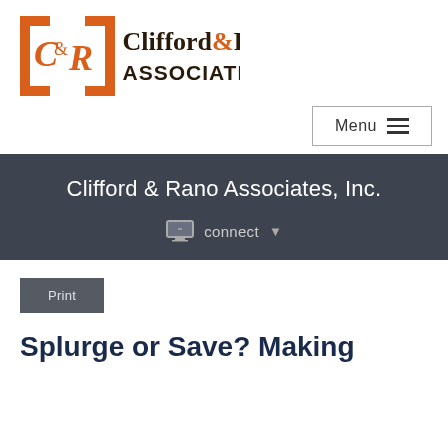[Figure (logo): Clifford & Rano Associates, Inc. logo with orange C&R emblem and dark serif text]
[Figure (screenshot): Menu button with hamburger icon in top right]
Clifford & Rano Associates, Inc.
connect ▾
Print
Splurge or Save? Making